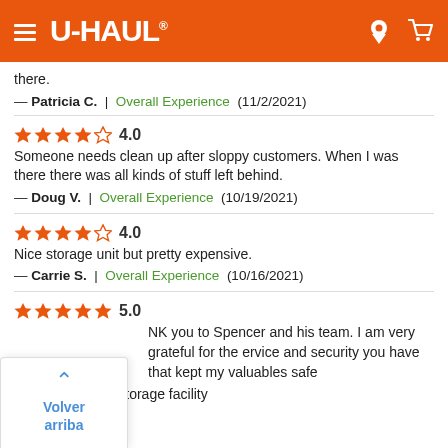U-HAUL
there.
— Patricia C.  |  Overall Experience  (11/2/2021)
★★★★☆ 4.0
Someone needs clean up after sloppy customers. When I was there there was all kinds of stuff left behind.
— Doug V.  |  Overall Experience  (10/19/2021)
★★★★☆ 4.0
Nice storage unit but pretty expensive.
— Carrie S.  |  Overall Experience  (10/16/2021)
★★★★★ 5.0
NK you to Spencer and his team. I am very grateful for the ervice and security you have that kept my valuables safe while using your storage facility